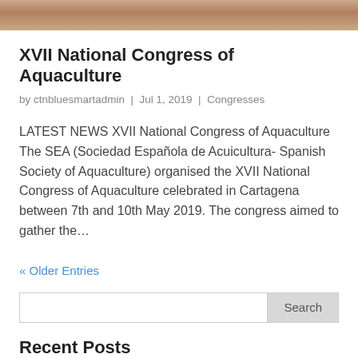[Figure (photo): Photo strip at the top of the page showing a partial image with warm brown/tan tones]
XVII National Congress of Aquaculture
by ctnbluesmartadmin | Jul 1, 2019 | Congresses
LATEST NEWS XVII National Congress of Aquaculture The SEA (Sociedad Española de Acuicultura- Spanish Society of Aquaculture) organised the XVII National Congress of Aquaculture celebrated in Cartagena between 7th and 10th May 2019. The congress aimed to gather the…
« Older Entries
Recent Posts
Consortium progress meeting of DEMO-